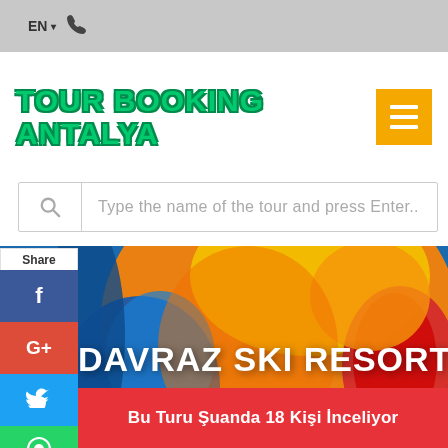EN ▾ ☎
TOUR BOOKING ANTALYA
Type  the name of the tour and press Enter..
[Figure (screenshot): Share sidebar with Facebook, Google+, Twitter, WhatsApp, and Email buttons]
[Figure (photo): Colorful hero banner showing beach flip-flops and bright summer colors (blue, orange, yellow, red)]
DAVRAZ SKI RESORT
Bu Turu Şuanda 18 Kişi İnceliyor